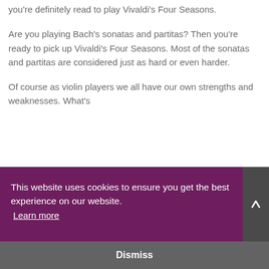you’re definitely read to play Vivaldi’s Four Seasons.
Are you playing Bach’s sonatas and partitas? Then you’re ready to pick up Vivaldi’s Four Seasons. Most of the sonatas and partitas are considered just as hard or even harder.
Of course as violin players we all have our own strengths and weaknesses. What’s
This website uses cookies to ensure you get the best experience on our website. Learn more
Dismiss